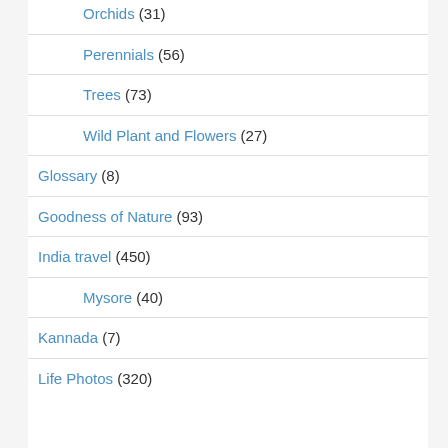Orchids (31)
Perennials (56)
Trees (73)
Wild Plant and Flowers (27)
Glossary (8)
Goodness of Nature (93)
India travel (450)
Mysore (40)
Kannada (7)
Life Photos (320)